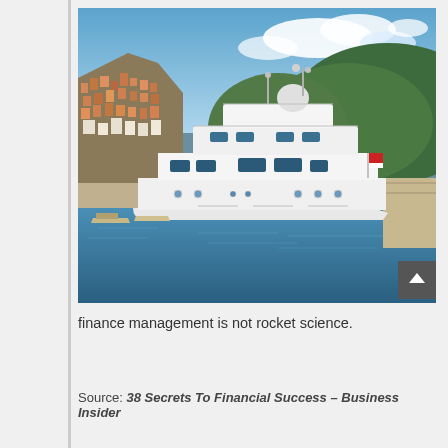[Figure (photo): A large luxury white yacht moored at a harbor dock, with a colorful Mediterranean hillside town visible on the left and green mountains in the background, under a partly cloudy blue sky. A small motorboat is in the foreground water.]
finance management is not rocket science.
Source: 38 Secrets To Financial Success – Business Insider